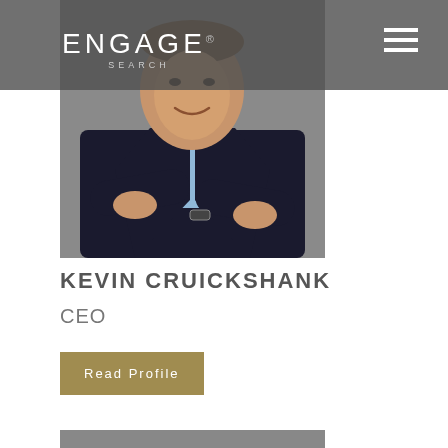ENGAGE SEARCH
[Figure (photo): Professional headshot of Kevin Cruickshank, a man in a dark suit with arms crossed, smiling, grey background]
KEVIN CRUICKSHANK
CEO
Read Profile